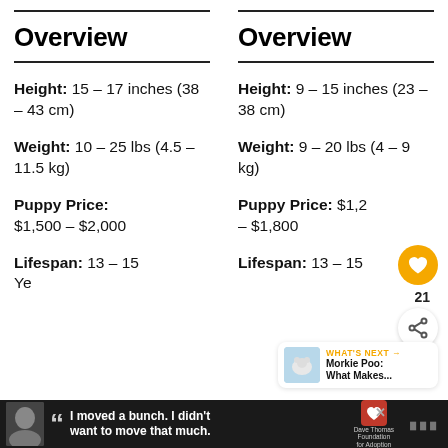Overview
Height: 15 – 17 inches (38 – 43 cm)
Weight: 10 – 25 lbs (4.5 – 11.5 kg)
Puppy Price: $1,500 – $2,000
Lifespan: 13 – 15 ye...
Overview
Height: 9 – 15 inches (23 – 38 cm)
Weight: 9 – 20 lbs (4 – 9 kg)
Puppy Price: $1,2... – $1,800
Lifespan: 13 – 15
WHAT'S NEXT → Morkie Poo: What Makes...
I moved a bunch. I didn't want to move that much. — Dave Thomas Foundation for Adoption